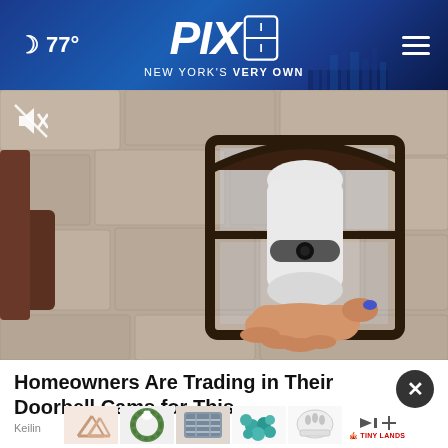PIX11 NEW YORK'S VERY OWN — 77°
[Figure (photo): Video thumbnail showing a doorbell camera being installed inside an outdoor lantern-style light fixture mounted on a stone wall. A hand with blue nail polish is reaching up to install the device. A mute icon is visible in the top-left corner of the video.]
Homeowners Are Trading in Their Doorbell Cams for This
[Figure (photo): Row of small product thumbnail images showing various home and lifestyle items including geometric shelf brackets, a green wreath, a patterned fabric item, teal decorative balls, and a white helmet.]
Keilin